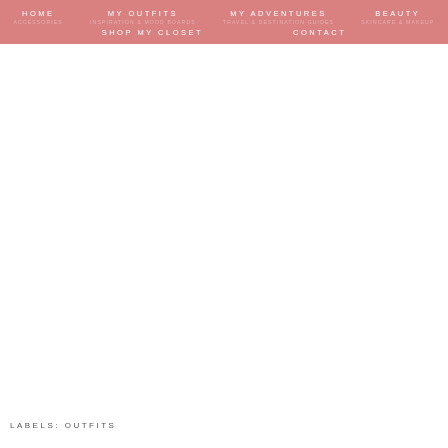HOME   MY OUTFITS   MY ADVENTURES   BEAUTY   SHOP MY CLOSET   CONTACT
LABELS: OUTFITS